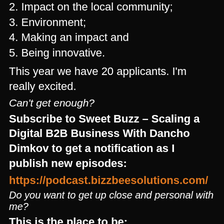2. Impact on the local community;
3. Environment;
4. Making an impact and
5. Being innovative.
This year we have 20 applicants. I'm really excited.
Can't get enough?
Subscribe to Sweet Buzz – Scaling a Digital B2B Business With Dancho Dimkov to get a notification as I publish new episodes:
https://podcast.bizzbeesolutions.com/
Do you want to get up close and personal with me?
This is the place to be:
https://danchodimkov.com/
Read all about the proven 6 step ZZ framework that will assure you get a steady